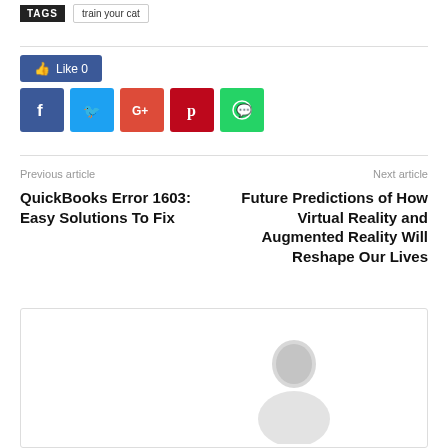TAGS  train your cat
[Figure (other): Like 0 Facebook button and social share icons: Facebook, Twitter, Google+, Pinterest, WhatsApp]
Previous article
Next article
QuickBooks Error 1603: Easy Solutions To Fix
Future Predictions of How Virtual Reality and Augmented Reality Will Reshape Our Lives
[Figure (photo): Author profile photo placeholder with blurred person image]